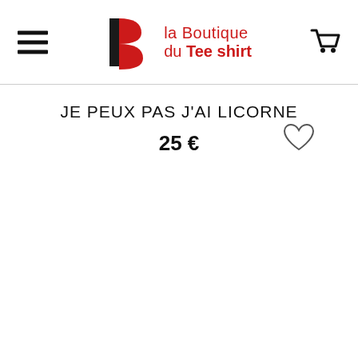la Boutique du Tee shirt
JE PEUX PAS J'AI LICORNE
25 €